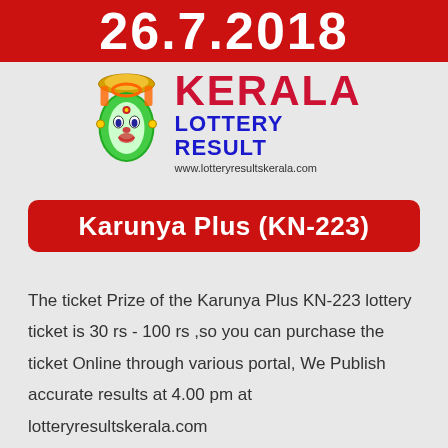26.7.2018
[Figure (logo): Kerala Lottery Result logo with Kathakali face mascot, KERALA in red, LOTTERY RESULT in blue, www.lotteryresultskerala.com]
Karunya Plus (KN-223)
The ticket Prize of the Karunya Plus KN-223 lottery ticket is 30 rs - 100 rs ,so you can purchase the ticket Online through various portal, We Publish accurate results at 4.00 pm at lotteryresultskerala.com